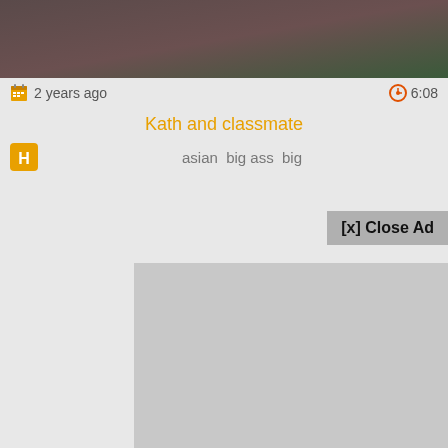[Figure (photo): Blurred/dark video thumbnail image]
2 years ago
6:08
Kath and classmate
asian  big ass  big
[x] Close Ad
[Figure (other): Advertisement placeholder box (gray rectangle)]